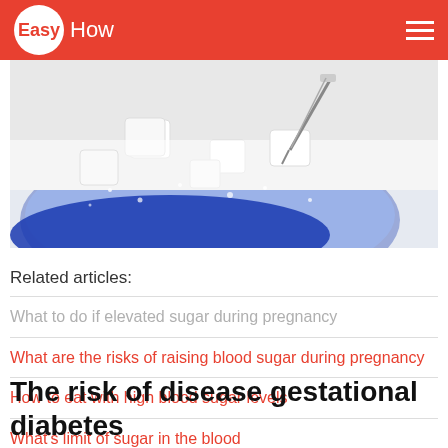Easy How
[Figure (photo): Close-up photo of sugar cubes and granulated sugar on a blue surface with a syringe, representing blood sugar and diabetes concept]
Related articles:
What to do if elevated sugar during pregnancy
What are the risks of raising blood sugar during pregnancy
How to eat with high blood sugar levels
What's limit of sugar in the blood
The risk of disease gestational diabetes